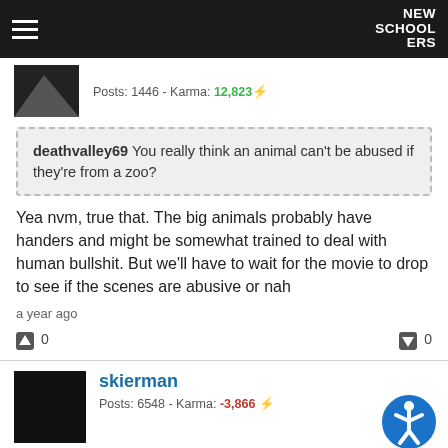NEW SCHOOLERS
Posts: 1446 - Karma: 12,823
deathvalley69 You really think an animal can't be abused if they're from a zoo?
Yea nvm, true that. The big animals probably have handers and might be somewhat trained to deal with human bullshit. But we'll have to wait for the movie to drop to see if the scenes are abusive or nah
a year ago
0  0
skierman
Posts: 6548 - Karma: -3,866
deathvalley69 I was talking about that other guy who said the